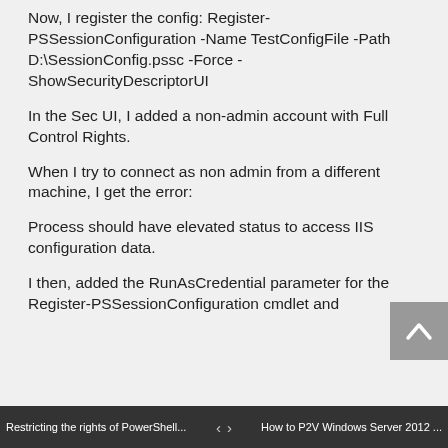Now, I register the config: Register-PSSessionConfiguration -Name TestConfigFile -Path D:\SessionConfig.pssc -Force -ShowSecurityDescriptorUI
In the Sec UI, I added a non-admin account with Full Control Rights.
When I try to connect as non admin from a different machine, I get the error:
Process should have elevated status to access IIS configuration data.
I then, added the RunAsCredential parameter for the Register-PSSessionConfiguration cmdlet and
Restricting the rights of PowerShell...    <  >    How to P2V Windows Server 2012 ...